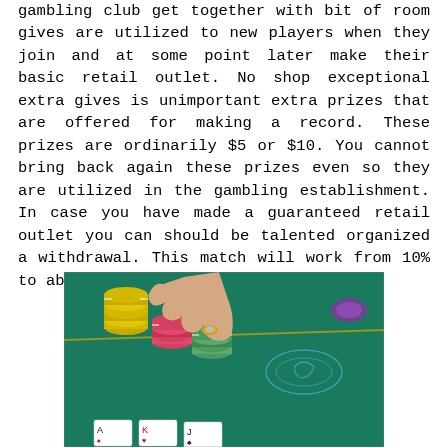gambling club get together with bit of room gives are utilized to new players when they join and at some point later make their basic retail outlet. No shop exceptional extra gives is unimportant extra prizes that are offered for making a record. These prizes are ordinarily $5 or $10. You cannot bring back again these prizes even so they are utilized in the gambling establishment. In case you have made a guaranteed retail outlet you can should be talented organized a withdrawal. This match will work from 10% to absolutely and have a significant.
[Figure (photo): A hand with a ring reaching over stacks of casino poker chips (yellow, pink/red, green/white) on a green felt poker table with playing cards visible at the bottom edge.]